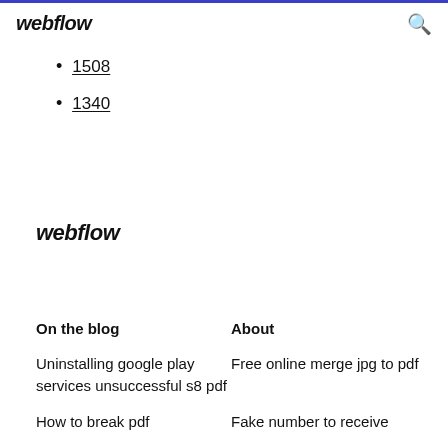webflow
1508
1340
webflow
On the blog
About
Uninstalling google play services unsuccessful s8 pdf
Free online merge jpg to pdf
How to break pdf
Fake number to receive